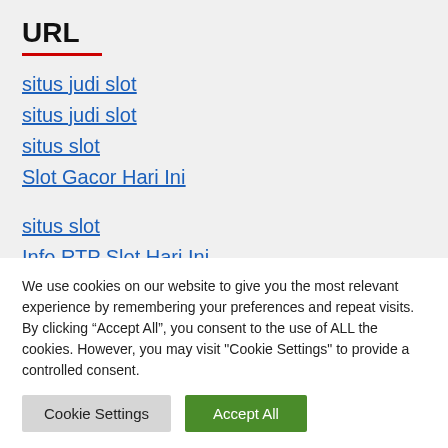URL
situs judi slot
situs judi slot
situs slot
Slot Gacor Hari Ini
situs slot
Info RTP Slot Hari Ini
slot online pragmatic play
We use cookies on our website to give you the most relevant experience by remembering your preferences and repeat visits. By clicking “Accept All”, you consent to the use of ALL the cookies. However, you may visit "Cookie Settings" to provide a controlled consent.